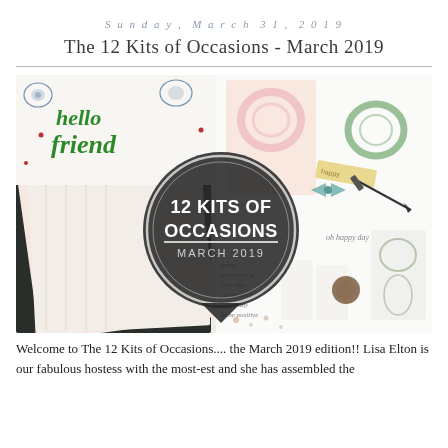Sunday, March 31, 2019
The 12 Kits of Occasions - March 2019
[Figure (photo): Collage of craft/stamping kit items including patterned papers with florals and greenery, cards with 'hello friend' stamped in green, pink floral wreath stamps, green wreath stamps, a bow tie embellishment, arrows, and other stamping supplies. A circular badge overlay reads '12 KITS OF OCCASIONS MARCH 2019'.]
Welcome to The 12 Kits of Occasions.... the March 2019 edition!! Lisa Elton is our fabulous hostess with the most-est and she has assembled the